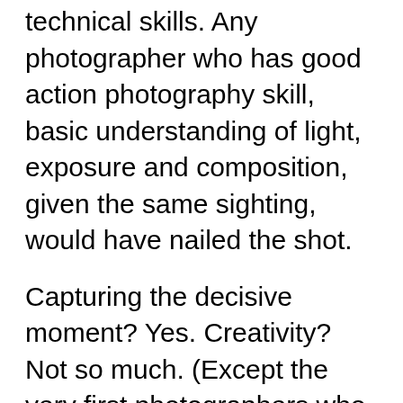technical skills. Any photographer who has good action photography skill, basic understanding of light, exposure and composition, given the same sighting, would have nailed the shot.
Capturing the decisive moment? Yes. Creativity? Not so much. (Except the very first photographers who had the courage and idea to take these before everybody else.)
The key of my question is therefore to distinguish how much